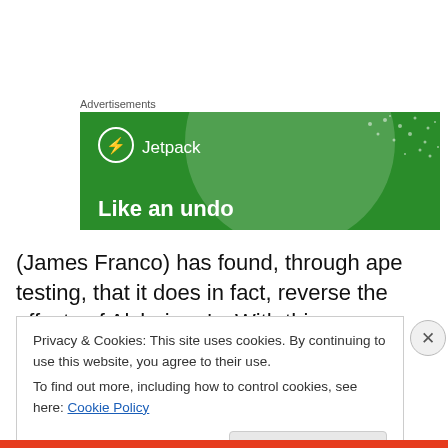Advertisements
[Figure (illustration): Jetpack advertisement banner with green background, large semi-transparent circle, white dots pattern, Jetpack logo with lightning bolt icon, and tagline 'Like an undo']
(James Franco) has found, through ape testing, that it does in fact, reverse the effects of Alzheimer's. With this
Privacy & Cookies: This site uses cookies. By continuing to use this website, you agree to their use.
To find out more, including how to control cookies, see here: Cookie Policy
Close and accept